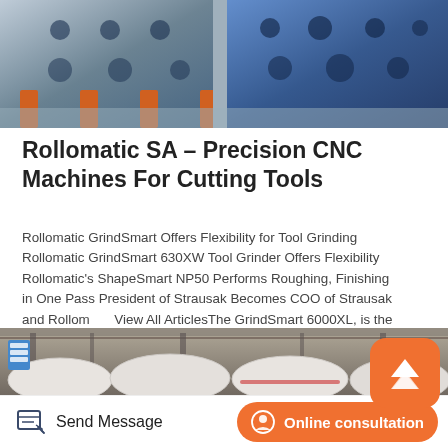[Figure (photo): Industrial blue steel CNC machine frames in a manufacturing facility]
Rollomatic SA – Precision CNC Machines For Cutting Tools
Rollomatic GrindSmart Offers Flexibility for Tool Grinding Rollomatic GrindSmart 630XW Tool Grinder Offers Flexibility Rollomatic's ShapeSmart NP50 Performs Roughing, Finishing in One Pass President of Strausak Becomes COO of Strausak and Rollomatic View All ArticlesThe GrindSmart 6000XL, is the world's firs ful
[Figure (photo): Industrial warehouse with large white bagged goods/materials on shelving]
Send Message
Online consultation